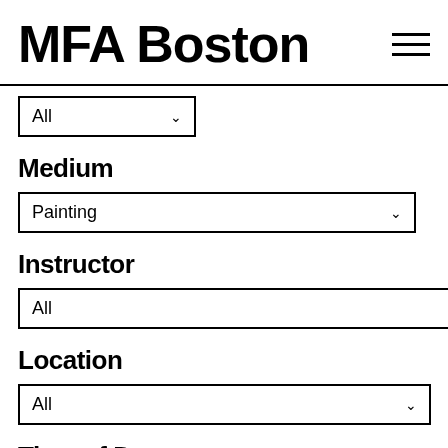MFABoston
All (dropdown - partial label cut off at top)
Medium
Painting (dropdown)
Instructor
All (dropdown)
Location
All (dropdown)
Time of Day
All (dropdown)
Number of Sessions